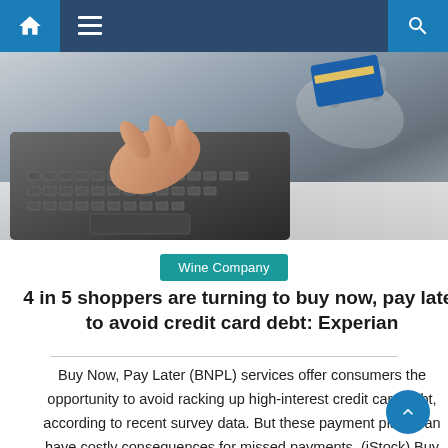Navigation bar with home, menu, and search icons
[Figure (photo): Close-up photo of hands using a laptop keyboard, one hand typing and the other holding a credit card]
Wine Company
4 in 5 shoppers are turning to buy now, pay later to avoid credit card debt: Experian
Buy Now, Pay Later (BNPL) services offer consumers the opportunity to avoid racking up high-interest credit card debt, according to recent survey data. But these payment plans can have costly consequences for missed payments. (iStock) Buy Now, Pay Later (BNPL) allows buyers to split the cost of their purchase into smaller installments, often little [...]